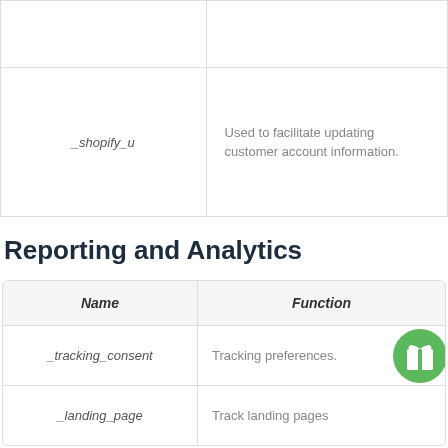| Name | Function |
| --- | --- |
|  |  |
| _shopify_u | Used to facilitate updating customer account information. |
Reporting and Analytics
| Name | Function |
| --- | --- |
| _tracking_consent | Tracking preferences. |
| _landing_page | Track landing pages |